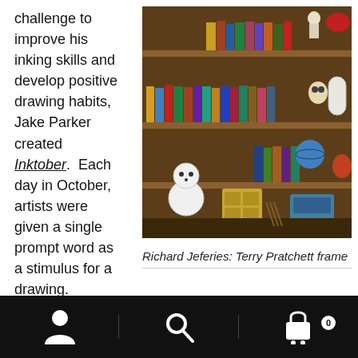challenge to improve his inking skills and develop positive drawing habits, Jake Parker created Inktober.  Each day in October, artists were given a single prompt word as a stimulus for a drawing.
[Figure (photo): A decorative shadowbox/frame filled with miniature books, figurines, and objects arranged on tiny shelves — a Terry Pratchett-themed display by Richard Jeferies. Includes small book spines, a snowman, a globe, skeleton figures, and various small collectibles.]
Richard Jeferies: Terry Pratchett frame